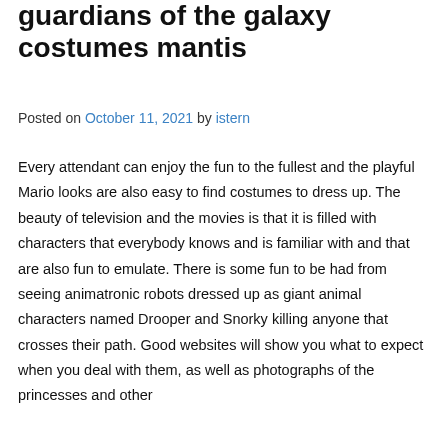guardians of the galaxy costumes mantis
Posted on October 11, 2021 by istern
Every attendant can enjoy the fun to the fullest and the playful Mario looks are also easy to find costumes to dress up. The beauty of television and the movies is that it is filled with characters that everybody knows and is familiar with and that are also fun to emulate. There is some fun to be had from seeing animatronic robots dressed up as giant animal characters named Drooper and Snorky killing anyone that crosses their path. Good websites will show you what to expect when you deal with them, as well as photographs of the princesses and other